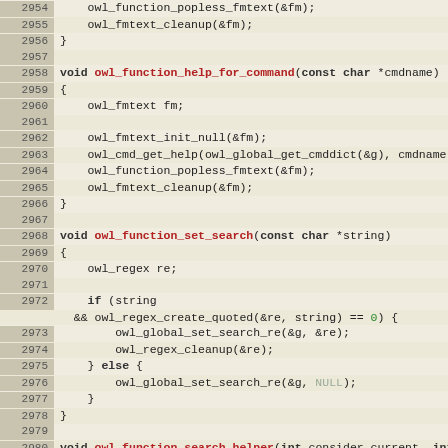[Figure (screenshot): Source code viewer showing C code lines 2954-2983, with line numbers in a tan/brown gutter, function definitions and code in monospace font with syntax highlighting (keywords bold, function names red, numbers green, comments gray/italic).]